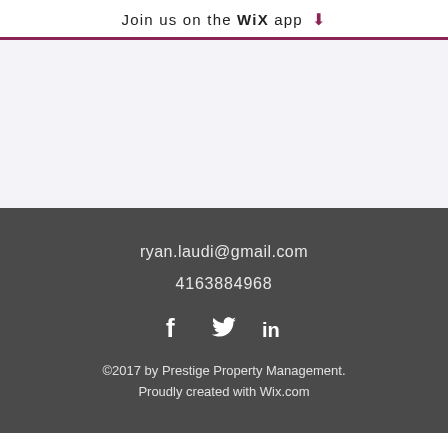Join us on the WiX app ⬇
ryan.laudi@gmail.com
4163884968
[Figure (infographic): Social media icons: Facebook, Twitter, LinkedIn]
©2017 by Prestige Property Management. Proudly created with Wix.com